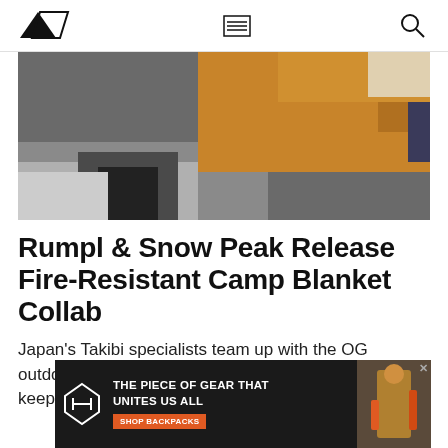Navigation bar with logo, hamburger menu, and search icon
[Figure (photo): Close-up photo of a person wearing an orange/tan jacket and hat, outdoors in a snowy or wintry setting]
Rumpl & Snow Peak Release Fire-Resistant Camp Blanket Collab
Japan's Takibi specialists team up with the OG outdoor blanket maker for a special collab that keeps flying sparks and embers at bay
[Figure (infographic): Advertisement banner: THE PIECE OF GEAR THAT UNITES US ALL - SHOP BACKPACKS - with Herschel logo and photo of person in firefighter gear]